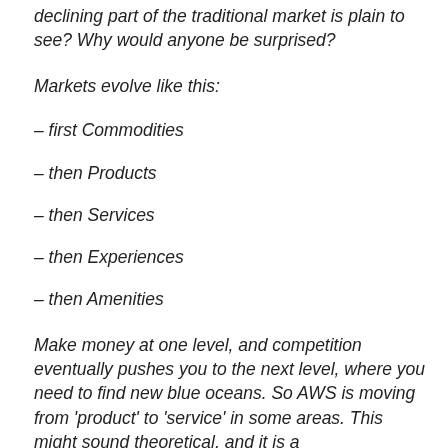declining part of the traditional market is plain to see? Why would anyone be surprised?
Markets evolve like this:
– first Commodities
– then Products
– then Services
– then Experiences
– then Amenities
Make money at one level, and competition eventually pushes you to the next level, where you need to find new blue oceans. So AWS is moving from 'product' to 'service' in some areas. This might sound theoretical, and it is a